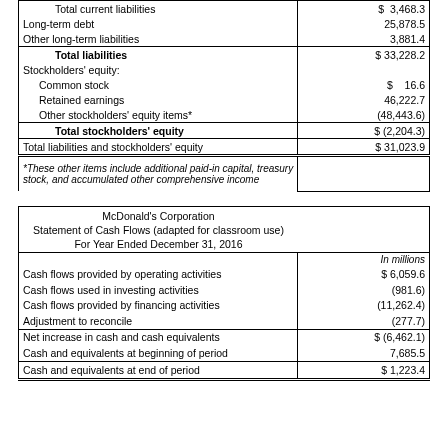|  |  |
| --- | --- |
| Total current liabilities | $ 3,468.3 |
| Long-term debt | 25,878.5 |
| Other long-term liabilities | 3,881.4 |
| Total liabilities | $ 33,228.2 |
| Stockholders' equity: |  |
| Common stock | $  16.6 |
| Retained earnings | 46,222.7 |
| Other stockholders' equity items* | (48,443.6) |
| Total stockholders' equity | $ (2,204.3) |
| Total liabilities and stockholders' equity | $ 31,023.9 |
| *These other items include additional paid-in capital, treasury stock, and accumulated other comprehensive income |  |
| McDonald's Corporation |  |
| --- | --- |
| Statement of Cash Flows (adapted for classroom use) |  |
| For Year Ended December 31, 2016 |  |
|  | In millions |
| Cash flows provided by operating activities | $ 6,059.6 |
| Cash flows used in investing activities | (981.6) |
| Cash flows provided by financing activities | (11,262.4) |
| Adjustment to reconcile | (277.7) |
| Net increase in cash and cash equivalents | $ (6,462.1) |
| Cash and equivalents at beginning of period | 7,685.5 |
| Cash and equivalents at end of period | $ 1,223.4 |